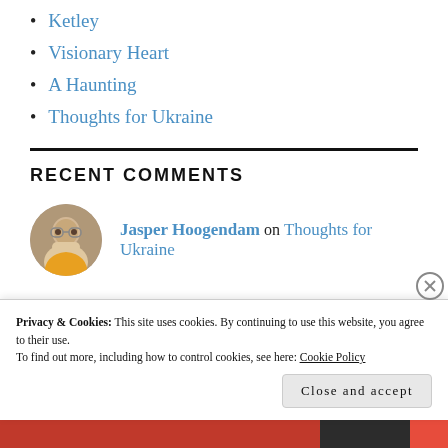Ketley
Visionary Heart
A Haunting
Thoughts for Ukraine
RECENT COMMENTS
Jasper Hoogendam on Thoughts for Ukraine
Privacy & Cookies: This site uses cookies. By continuing to use this website, you agree to their use.
To find out more, including how to control cookies, see here: Cookie Policy
Close and accept